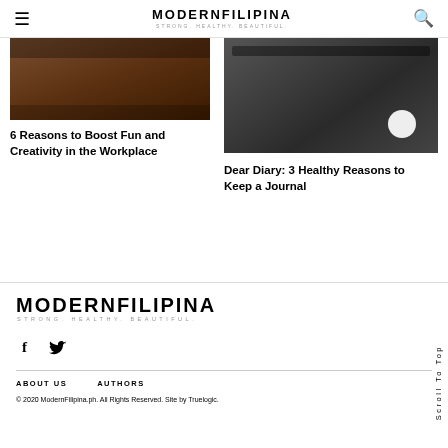MODERNFILIPINA — STRONG. HEALTHY. BEAUTIFUL.
[Figure (photo): Dark warm-toned photo, top of article about workplace fun and creativity]
6 Reasons to Boost Fun and Creativity in the Workplace
[Figure (photo): Dark photo with bowl/object, top of article about keeping a journal]
Dear Diary: 3 Healthy Reasons to Keep a Journal
[Figure (logo): MODERNFILIPINA — STRONG. HEALTHY. BEAUTIFUL. footer logo]
f  (Facebook icon)
(Twitter bird icon)
ABOUT US   AUTHORS
© 2020 ModernFilipina.ph. All Rights Reserved. Site by Truelogic.
Scroll To Top